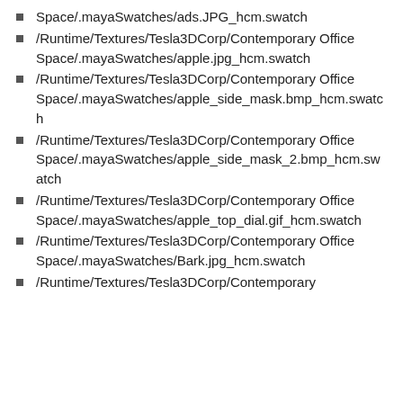Space/.mayaSwatches/ads.JPG_hcm.swatch
/Runtime/Textures/Tesla3DCorp/Contemporary Office Space/.mayaSwatches/apple.jpg_hcm.swatch
/Runtime/Textures/Tesla3DCorp/Contemporary Office Space/.mayaSwatches/apple_side_mask.bmp_hcm.swatch
/Runtime/Textures/Tesla3DCorp/Contemporary Office Space/.mayaSwatches/apple_side_mask_2.bmp_hcm.swatch
/Runtime/Textures/Tesla3DCorp/Contemporary Office Space/.mayaSwatches/apple_top_dial.gif_hcm.swatch
/Runtime/Textures/Tesla3DCorp/Contemporary Office Space/.mayaSwatches/Bark.jpg_hcm.swatch
/Runtime/Textures/Tesla3DCorp/Contemporary